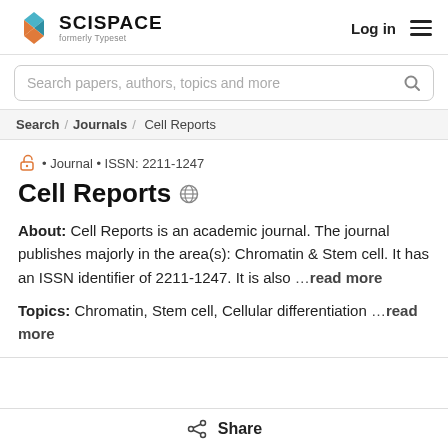[Figure (logo): SciSpace logo with geometric cube icon and text 'SCISPACE formerly Typeset']
Log in  ≡
Search papers, authors, topics and more
Search / Journals / Cell Reports
• Journal • ISSN: 2211-1247
Cell Reports
About: Cell Reports is an academic journal. The journal publishes majorly in the area(s): Chromatin & Stem cell. It has an ISSN identifier of 2211-1247. It is also ...read more
Topics: Chromatin, Stem cell, Cellular differentiation ...read more
Share